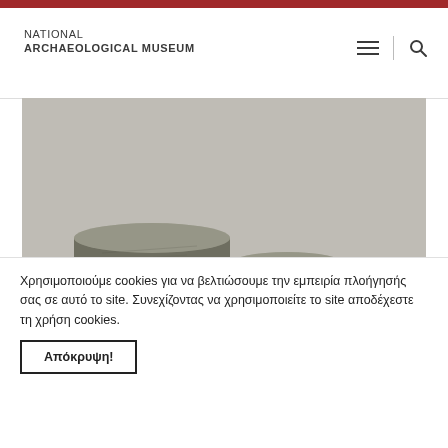NATIONAL ARCHAEOLOGICAL MUSEUM
[Figure (photo): Three ancient stone disc weights of decreasing size displayed on a white surface against a grey background. The two largest are stacked pairs and the smallest is a single disc on the right.]
Χρησιμοποιούμε cookies για να βελτιώσουμε την εμπειρία πλοήγησής σας σε αυτό το site. Συνεχίζοντας να χρησιμοποιείτε το site αποδέχεστε τη χρήση cookies.
Απόκρυψη!